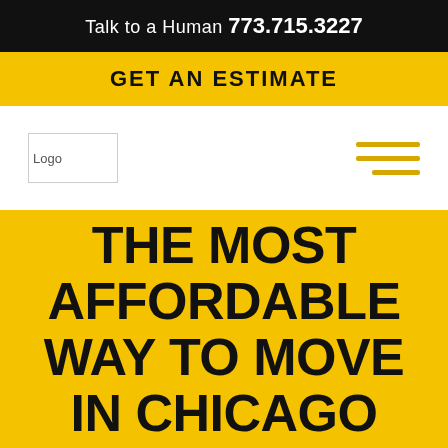Talk to a Human 773.715.3227
GET AN ESTIMATE
[Figure (logo): Company logo placeholder in navigation bar]
THE MOST AFFORDABLE WAY TO MOVE IN CHICAGO